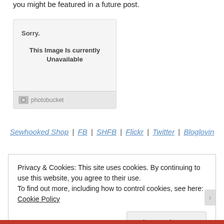you might be featured in a future post.
[Figure (screenshot): Photobucket image placeholder showing 'Sorry. This Image Is currently Unavailable' with Photobucket logo bar at bottom]
Sewhooked Shop | FB | SHFB | Flickr | Twitter | Bloglovin
Privacy & Cookies: This site uses cookies. By continuing to use this website, you agree to their use.
To find out more, including how to control cookies, see here: Cookie Policy
Close and accept